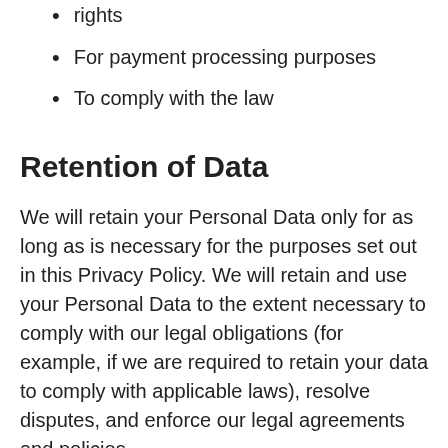rights
For payment processing purposes
To comply with the law
Retention of Data
We will retain your Personal Data only for as long as is necessary for the purposes set out in this Privacy Policy. We will retain and use your Personal Data to the extent necessary to comply with our legal obligations (for example, if we are required to retain your data to comply with applicable laws), resolve disputes, and enforce our legal agreements and policies.